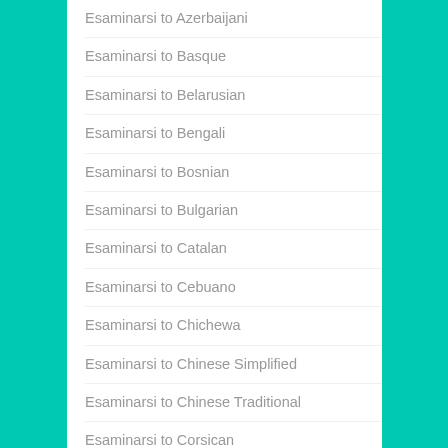Esaminarsi to Azerbaijani
Esaminarsi to Basque
Esaminarsi to Belarusian
Esaminarsi to Bengali
Esaminarsi to Bosnian
Esaminarsi to Bulgarian
Esaminarsi to Catalan
Esaminarsi to Cebuano
Esaminarsi to Chichewa
Esaminarsi to Chinese Simplified
Esaminarsi to Chinese Traditional
Esaminarsi to Corsican
Esaminarsi to Croatian
Esaminarsi to Czech